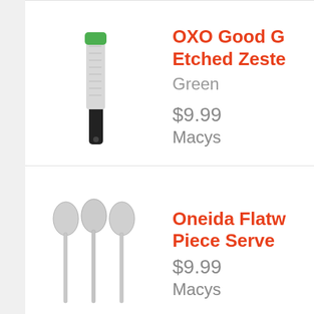[Figure (photo): OXO Good Grips Etched Zester with green top and black handle]
OXO Good G... Etched Zeste... Green $9.99 Macys
[Figure (photo): Oneida Flatware three silver spoons]
Oneida Flatw... Piece Serve... $9.99 Macys